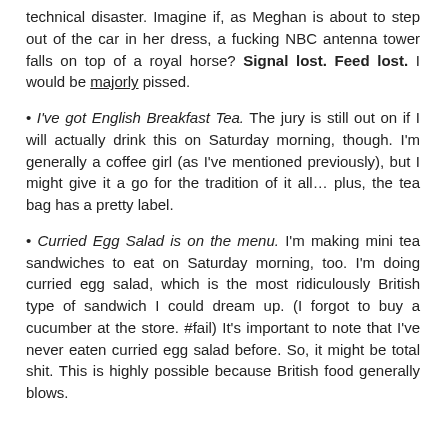technical disaster. Imagine if, as Meghan is about to step out of the car in her dress, a fucking NBC antenna tower falls on top of a royal horse? Signal lost. Feed lost. I would be majorly pissed.
I've got English Breakfast Tea. The jury is still out on if I will actually drink this on Saturday morning, though. I'm generally a coffee girl (as I've mentioned previously), but I might give it a go for the tradition of it all… plus, the tea bag has a pretty label.
Curried Egg Salad is on the menu. I'm making mini tea sandwiches to eat on Saturday morning, too. I'm doing curried egg salad, which is the most ridiculously British type of sandwich I could dream up. (I forgot to buy a cucumber at the store. #fail) It's important to note that I've never eaten curried egg salad before. So, it might be total shit. This is highly possible because British food generally blows.